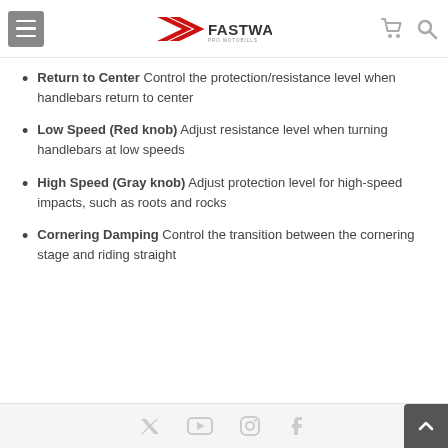Fastway Pro Motobills navigation header
center', 'cornering damping', and 'cornering angle'. All totally adjustable, with low and high speed adjustability without tools.
Return to Center Control the protection/resistance level when handlebars return to center
Low Speed (Red knob) Adjust resistance level when turning handlebars at low speeds
High Speed (Gray knob) Adjust protection level for high-speed impacts, such as roots and rocks
Cornering Damping Control the transition between the cornering stage and riding straight
Social media icons footer with back to top button